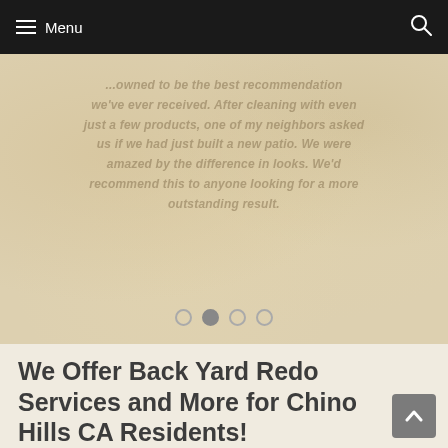Menu
[Figure (photo): Hero slider image with faded italic text overlay on a beige/cream textured background. Text reads about being the best recommendation with a slider showing 4 dots, second dot active.]
We Offer Back Yard Redo Services and More for Chino Hills CA Residents!